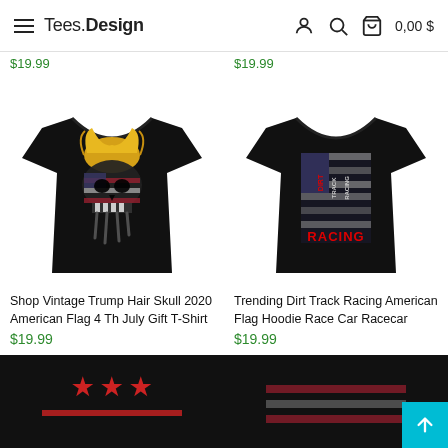Tees.Design   0,00$
$19.99
$19.99
[Figure (photo): Black t-shirt with a Trump hair skull design over an American flag pattern]
[Figure (photo): Black t-shirt with Dirt Track Racing American Flag design with RACING text in red]
Shop Vintage Trump Hair Skull 2020 American Flag 4 Th July Gift T-Shirt
$19.99
Trending Dirt Track Racing American Flag Hoodie Race Car Racecar
$19.99
[Figure (photo): Black t-shirt partially visible with red stars design at bottom]
[Figure (photo): Black t-shirt partially visible with American flag design]